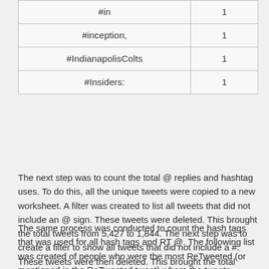| #in | 1 |
| #inception, | 1 |
| #IndianapolisColts | 1 |
| #Insiders: | 1 |
The next step was to count the total @ replies and hashtag uses. To do this, all the unique tweets were copied to a new worksheet. A filter was created to list all tweets that did not include an @ sign. These tweets were deleted. This brought the total tweets from 5,427 to 1,844. The next step was to create a filter to show all tweets that did not include a #. These tweets were then deleted. This brought the total Tweets down to 832. The next step was to look remove tweets that did not contain “RT @”, “RT:@”, “retweeting @”, “retweet @”, “via @”, “thx @”, “HT @”, or “r @”. This leaves 458 tweets that are retweets that contain hash tags.
The same process was conducted to count the hash tags that was used for all hash tags and RT @. The following list was created of people who were the most ReTweeted (or mentioned in the ReTweeted tweet) where the tweets contained #hashtags and the #hashtag totals for